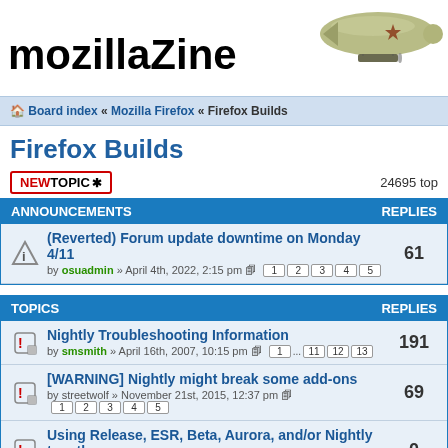[Figure (logo): mozillaZine text logo with blimp illustration]
Board index « Mozilla Firefox « Firefox Builds
Firefox Builds
NEWTOPIC* 24695 top
| ANNOUNCEMENTS | REPLIES |
| --- | --- |
| (Reverted) Forum update downtime on Monday 4/11 by osuadmin » April 4th, 2022, 2:15 pm  1 2 3 4 5 | 61 |
| TOPICS | REPLIES |
| --- | --- |
| Nightly Troubleshooting Information by smsmith » April 16th, 2007, 10:15 pm  1 ... 11 12 13 | 191 |
| [WARNING] Nightly might break some add-ons by streetwolf » November 21st, 2015, 12:37 pm  1 2 3 4 5 | 69 |
| Using Release, ESR, Beta, Aurora, and/or Nightly together. by the-edmeister » April 18th, 2014, 9:04 am | 0 |